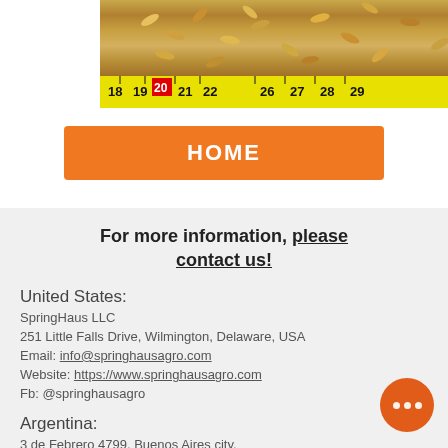[Figure (photo): Close-up photo of grain seeds (wheat/rye) spread on a measuring tape showing measurements from approximately 18 to 29 cm, with a yellow ruler at the bottom.]
HOME
For more information, please contact us!

United States:
SpringHaus LLC
251 Little Falls Drive, Wilmington, Delaware, USA
Email: info@springhausagro.com
Website: https://www.springhausagro.com
Fb: @springhausagro

Argentina:
3 de Febrero 4799, Buenos Aires city, Argentina
Email: jorge.huck@springhausagro.com
Website: